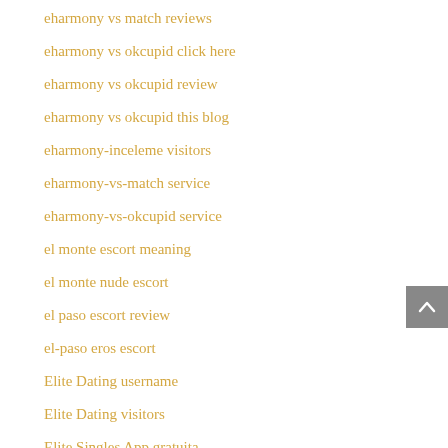eharmony vs match reviews
eharmony vs okcupid click here
eharmony vs okcupid review
eharmony vs okcupid this blog
eharmony-inceleme visitors
eharmony-vs-match service
eharmony-vs-okcupid service
el monte escort meaning
el monte nude escort
el paso escort review
el-paso eros escort
Elite Dating username
Elite Dating visitors
Elite Singles App gratuita
Elite Singles hookup site